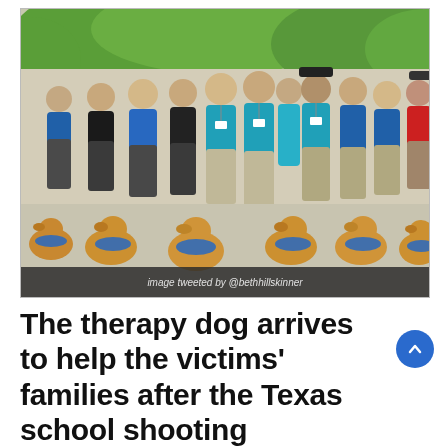[Figure (photo): Group photo of therapy dog handlers wearing blue, black, and teal polo shirts with ID lanyards, standing outdoors in sunlight, with five golden retrievers sitting in front wearing blue bandanas/vests. Trees visible in background.]
image tweeted by @bethhillskinner
The therapy dog arrives to help the victims’ families after the Texas school shooting